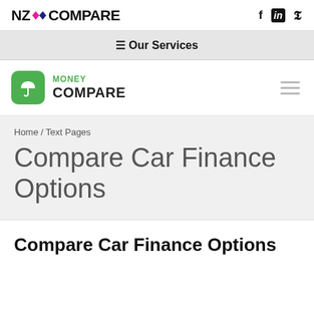NZ COMPARE
≡ Our Services
[Figure (logo): Money Compare logo — green rounded square with white umbrella icon, text MONEY COMPARE]
Home / Text Pages
Compare Car Finance Options
Compare Car Finance Options